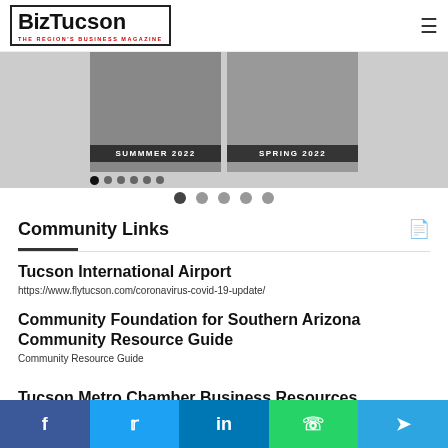BizTucson — THE REGION'S BUSINESS MAGAZINE
[Figure (screenshot): Carousel showing magazine covers: SUMMMER 2022 and SPRING 2022 with navigation dots]
Community Links
Tucson International Airport
https://www.flytucson.com/coronavirus-covid-19-update/
Community Foundation for Southern Arizona Community Resource Guide
Community Resource Guide
Tucson Metro Chamber Business Resources
TucsonChamber.org
Share buttons: Facebook, Twitter, LinkedIn, WhatsApp, Telegram